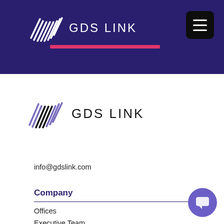GDS LINK
[Figure (logo): GDS LINK logo with diagonal stripe pattern in white on dark purple background, with pink underline bar]
[Figure (logo): GDS LINK logo with diagonal stripe pattern in dark/black and purple on white background]
info@gdslink.com
Company
Offices
Executive Team
Contact Us